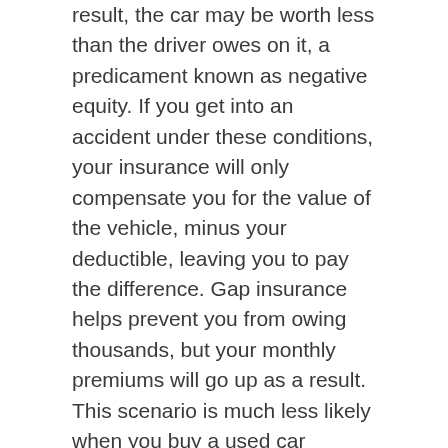result, the car may be worth less than the driver owes on it, a predicament known as negative equity. If you get into an accident under these conditions, your insurance will only compensate you for the value of the vehicle, minus your deductible, leaving you to pay the difference. Gap insurance helps prevent you from owing thousands, but your monthly premiums will go up as a result. This scenario is much less likely when you buy a used car because the bulk of the depreciation has already occurred.
No Waiting Period
If you're interested in checking out a brand new, high-demand vehicle, you might have trouble finding a dealer with that model in stock. Even if you